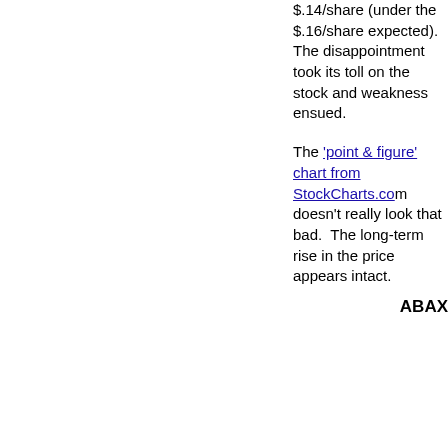$.14/share (under the $.16/share expected). The disappointment took its toll on the stock and weakness ensued.
The 'point & figure' chart from StockCharts.com doesn't really look that bad.  The long-term rise in the price appears intact.
ABAX